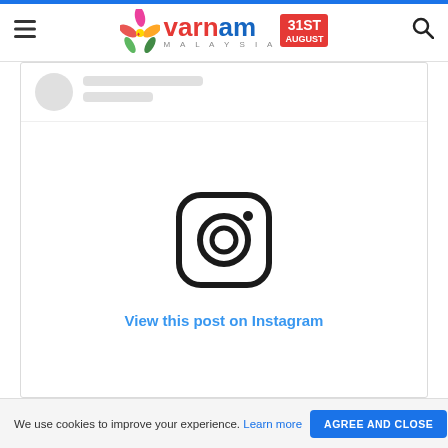Varnam Malaysia — navigation header with logo, menu and search icons
[Figure (screenshot): Instagram embedded post placeholder showing a circular avatar placeholder, loading skeleton lines, a large Instagram camera icon in the center, and a 'View this post on Instagram' link in blue]
View this post on Instagram
We use cookies to improve your experience. Learn more  AGREE AND CLOSE